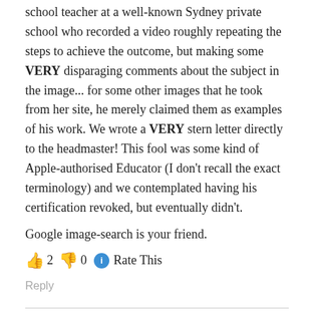school teacher at a well-known Sydney private school who recorded a video roughly repeating the steps to achieve the outcome, but making some VERY disparaging comments about the subject in the image... for some other images that he took from her site, he merely claimed them as examples of his work. We wrote a VERY stern letter directly to the headmaster! This fool was some kind of Apple-authorised Educator (I don't recall the exact terminology) and we contemplated having his certification revoked, but eventually didn't.
Google image-search is your friend.
👍 2 👎 0 ℹ Rate This
Reply
What do you think?